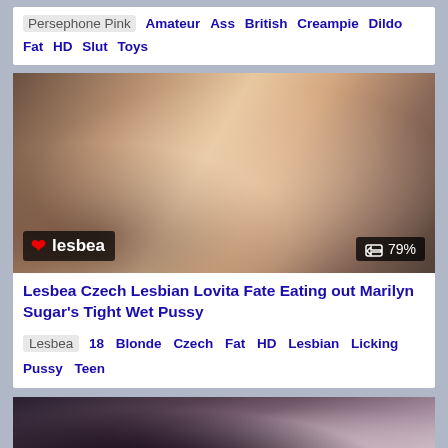Persephone Pink  Amateur  Ass  British  Creampie  Dildo  Fat  HD  Slut  Toys
[Figure (photo): Video thumbnail showing two women, watermark 'lesbea' with heart logo, rating 79%]
Lesbea Czech Lesbian Lovita Fate Eating out Marilyn Sugar's Tight Wet Pussy
Lesbea  18  Blonde  Czech  Fat  HD  Lesbian  Licking  Pussy  Teen
[Figure (photo): Video thumbnail showing two women in intimate scene]